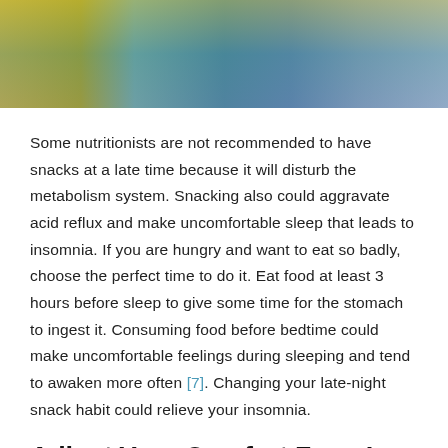[Figure (photo): Partial photo of a person, possibly sleeping or resting, with yellow-green and blue-teal tones in the background]
Some nutritionists are not recommended to have snacks at a late time because it will disturb the metabolism system. Snacking also could aggravate acid reflux and make uncomfortable sleep that leads to insomnia. If you are hungry and want to eat so badly, choose the perfect time to do it. Eat food at least 3 hours before sleep to give some time for the stomach to ingest it. Consuming food before bedtime could make uncomfortable feelings during sleeping and tend to awaken more often [7]. Changing your late-night snack habit could relieve your insomnia.
Adjust Your Comfort Zone In Your Bedroom
[Figure (photo): Partial photo at the bottom of the page, partially visible]